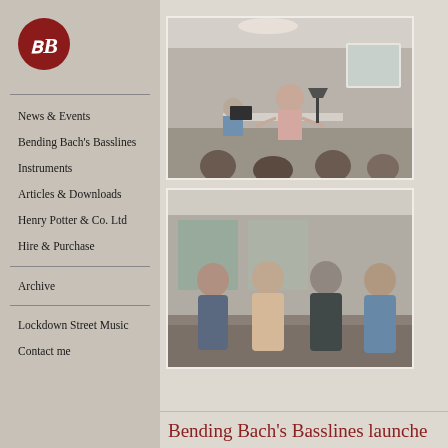[Figure (logo): BB logo: dark red circle with stylized double-B monogram in white]
News & Events
Bending Bach's Basslines
Instruments
Articles & Downloads
Henry Potter & Co. Ltd
Hire & Purchase
Archive
Lockdown Street Music
Contact me
[Figure (photo): A presenter standing at the front of a room addressing a seated audience, with monitors and music stands visible]
[Figure (photo): Four men standing together posing for a photo in what appears to be a rehearsal or event space]
Bending Bach's Basslines launche